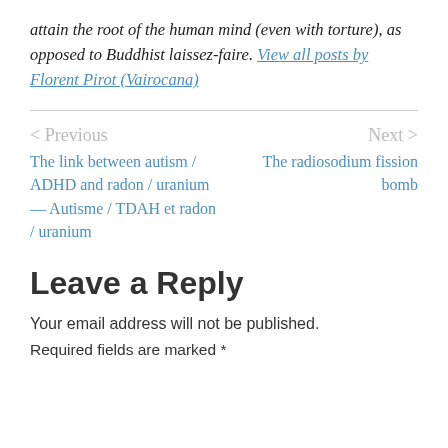attain the root of the human mind (even with torture), as opposed to Buddhist laissez-faire. View all posts by Florent Pirot (Vairocana)
< Previous    Next >
The link between autism / ADHD and radon / uranium — Autisme / TDAH et radon / uranium
The radiosodium fission bomb
Leave a Reply
Your email address will not be published.
Required fields are marked *